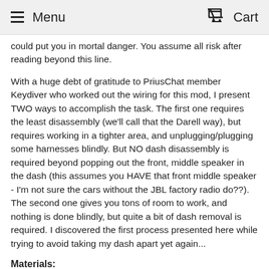Menu  Cart
could put you in mortal danger. You assume all risk after reading beyond this line.
With a huge debt of gratitude to PriusChat member Keydiver who worked out the wiring for this mod, I present TWO ways to accomplish the task. The first one requires the least disassembly (we'll call that the Darell way), but requires working in a tighter area, and unplugging/plugging some harnesses blindly. But NO dash disassembly is required beyond popping out the front, middle speaker in the dash (this assumes you HAVE that front middle speaker - I'm not sure the cars without the JBL factory radio do??). The second one gives you tons of room to work, and nothing is done blindly, but quite a bit of dash removal is required. I discovered the first process presented here while trying to avoid taking my dash apart yet again...
Materials:
1. Rectifier Diode, Forward Current: 1Amp Radio Shack 1N4004 #276-1103. (2 per package, $0.89)
2. Telephone Wire Tap Connectors Radio Shack 64-3081.